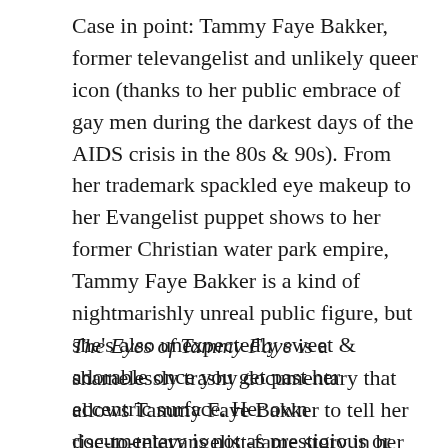Case in point: Tammy Faye Bakker, former televangelist and unlikely queer icon (thanks to her public embrace of gay men during the darkest days of the AIDS crisis in the 80s & 90s). From her trademark spackled eye makeup to her Evangelist puppet shows to her former Christian water park empire, Tammy Faye Bakker is a kind of nightmarishly unreal public figure, but she's also unexpectedly sweet & adorable once you get past her eccentric surface. Her own documentary is not as prestigious or artfully crafted as Marjoe Gortner's, but it may function as better PR, as it allows her to charm the audience for as long as she feels like chattering.
The Eyes of Tammy Faye is a shamelessly trashy documentary that allows Tammy Faye Bakker to tell her rise-to-televangelist-fame story in her own words, while also openly having campy fun with the details. Made by